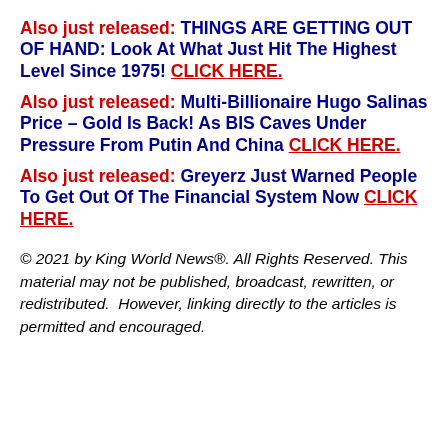Also just released: THINGS ARE GETTING OUT OF HAND: Look At What Just Hit The Highest Level Since 1975! CLICK HERE.
Also just released: Multi-Billionaire Hugo Salinas Price – Gold Is Back! As BIS Caves Under Pressure From Putin And China CLICK HERE.
Also just released: Greyerz Just Warned People To Get Out Of The Financial System Now CLICK HERE.
© 2021 by King World News®. All Rights Reserved. This material may not be published, broadcast, rewritten, or redistributed.  However, linking directly to the articles is permitted and encouraged.